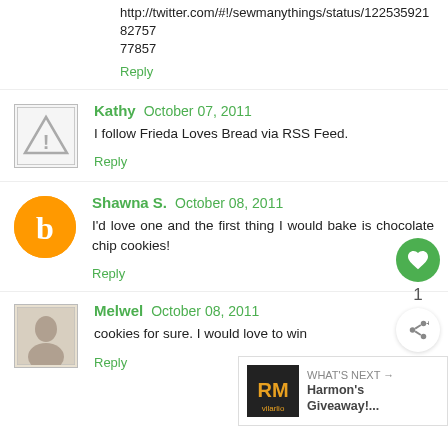http://twitter.com/#!/sewmanythings/status/12253592182757 77857
Reply
Kathy  October 07, 2011
I follow Frieda Loves Bread via RSS Feed.
Reply
Shawna S.  October 08, 2011
I'd love one and the first thing I would bake is chocolate chip cookies!
Reply
Melwel  October 08, 2011
cookies for sure. I would love to win
Reply